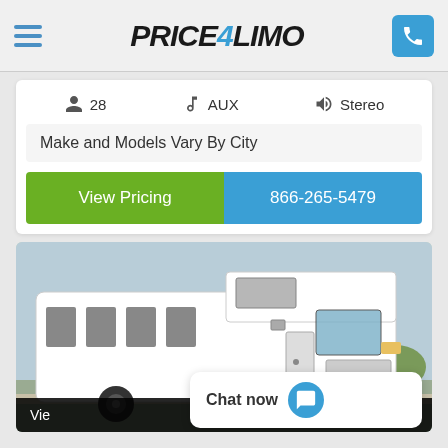Price4Limo
28   AUX   Stereo
Make and Models Vary By City
View Pricing
866-265-5479
[Figure (photo): White party bus/shuttle bus parked on a driveway with trees and sky in background]
Vie...
Chat now